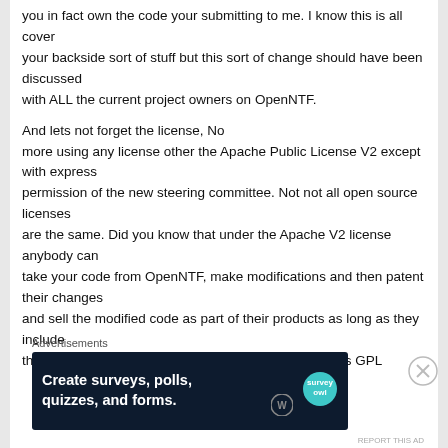you in fact own the code your submitting to me. I know this is all cover your backside sort of stuff but this sort of change should have been discussed with ALL the current project owners on OpenNTF.
And lets not forget the license, No more using any license other the Apache Public License V2 except with express permission of the new steering committee. Not not all open source licenses are the same. Did you know that under the Apache V2 license anybody can take your code from OpenNTF, make modifications and then patent their changes and sell the modified code as part of their products as long as they include the attributions and original license document, whereas GPL
Advertisements
[Figure (illustration): Advertisement banner with dark navy background reading 'Create surveys, polls, quizzes, and forms.' with WordPress and Survey logos]